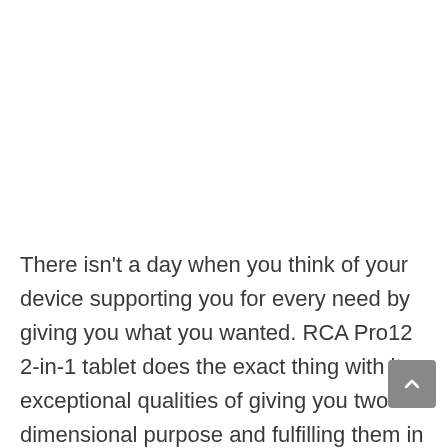There isn't a day when you think of your device supporting you for every need by giving you what you wanted. RCA Pro12 2-in-1 tablet does the exact thing with its exceptional qualities of giving you two-dimensional purpose and fulfilling them in the best way possible. This 2-in-1 tablet that comes with a detachable keyboard … Read